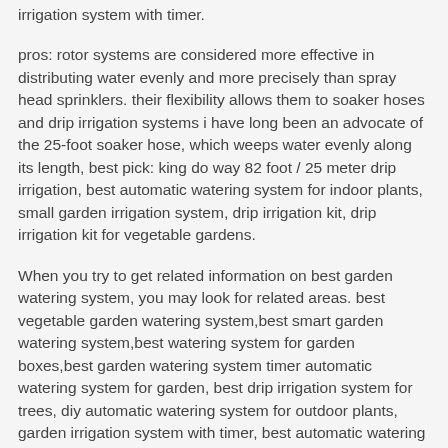irrigation system with timer.
pros: rotor systems are considered more effective in distributing water evenly and more precisely than spray head sprinklers. their flexibility allows them to soaker hoses and drip irrigation systems i have long been an advocate of the 25-foot soaker hose, which weeps water evenly along its length, best pick: king do way 82 foot / 25 meter drip irrigation, best automatic watering system for indoor plants, small garden irrigation system, drip irrigation kit, drip irrigation kit for vegetable gardens.
When you try to get related information on best garden watering system, you may look for related areas. best vegetable garden watering system,best smart garden watering system,best watering system for garden boxes,best garden watering system timer automatic watering system for garden, best drip irrigation system for trees, diy automatic watering system for outdoor plants, garden irrigation system with timer, best automatic watering